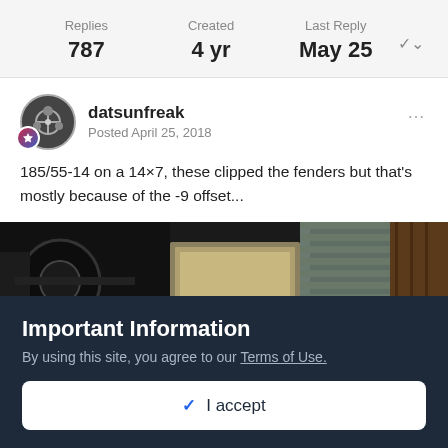Replies 787 | Created 4 yr | Last Reply May 25
datsunfreak
Posted April 25, 2018
185/55-14 on a 14×7, these clipped the fenders but that's mostly because of the -9 offset...
[Figure (photo): Dark photograph showing a car wheel/tire close-up in a garage setting with corrugated metal door in background]
Important Information
By using this site, you agree to our Terms of Use.
✓ I accept